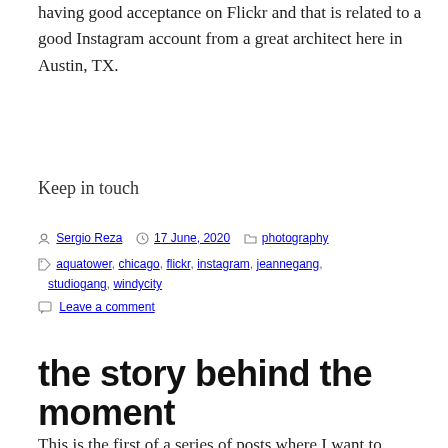having good acceptance on Flickr and that is related to a good Instagram account from a great architect here in Austin, TX.
Keep in touch
By Sergio Reza   17 June, 2020   photography
aquatower, chicago, flickr, instagram, jeannegang, studiogang, windycity
Leave a comment
the story behind the moment
This is the first of a series of posts where I want to